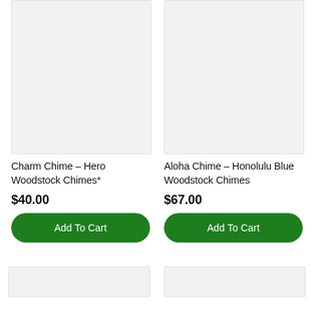[Figure (photo): Product image placeholder for Charm Chime - Hero Woodstock Chimes (light gray box)]
Charm Chime – Hero Woodstock Chimes*
$40.00
Add To Cart
[Figure (photo): Product image placeholder for Aloha Chime - Honolulu Blue Woodstock Chimes (light gray box)]
Aloha Chime – Honolulu Blue Woodstock Chimes
$67.00
Add To Cart
[Figure (photo): Bottom left product image placeholder (light gray box, partially visible)]
[Figure (photo): Bottom right product image placeholder (light gray box, partially visible)]